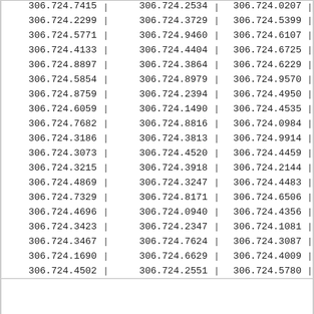| 306.724.7415 | | | 306.724.2534 | | | 306.724.0207 | | |
| 306.724.2299 | | | 306.724.3729 | | | 306.724.5399 | | |
| 306.724.5771 | | | 306.724.9460 | | | 306.724.6107 | | |
| 306.724.4133 | | | 306.724.4404 | | | 306.724.6725 | | |
| 306.724.8897 | | | 306.724.3864 | | | 306.724.6229 | | |
| 306.724.5854 | | | 306.724.8979 | | | 306.724.9570 | | |
| 306.724.8759 | | | 306.724.2394 | | | 306.724.4950 | | |
| 306.724.6059 | | | 306.724.1490 | | | 306.724.4535 | | |
| 306.724.7682 | | | 306.724.8816 | | | 306.724.0984 | | |
| 306.724.3186 | | | 306.724.3813 | | | 306.724.9914 | | |
| 306.724.3073 | | | 306.724.4520 | | | 306.724.4459 | | |
| 306.724.3215 | | | 306.724.3918 | | | 306.724.2144 | | |
| 306.724.4869 | | | 306.724.3247 | | | 306.724.4483 | | |
| 306.724.7329 | | | 306.724.8171 | | | 306.724.6506 | | |
| 306.724.4696 | | | 306.724.0940 | | | 306.724.4356 | | |
| 306.724.3423 | | | 306.724.2347 | | | 306.724.1081 | | |
| 306.724.3467 | | | 306.724.7624 | | | 306.724.3087 | | |
| 306.724.1690 | | | 306.724.6629 | | | 306.724.4009 | | |
| 306.724.4502 | | | 306.724.2551 | | | 306.724.5780 | | |